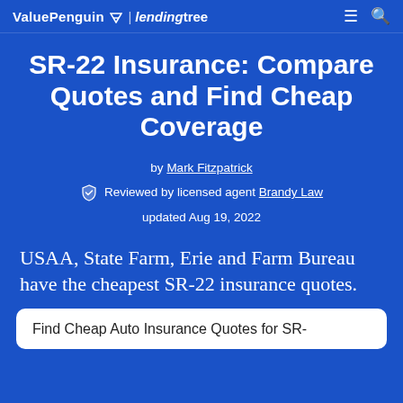ValuePenguin | lendingtree
SR-22 Insurance: Compare Quotes and Find Cheap Coverage
by Mark Fitzpatrick
Reviewed by licensed agent Brandy Law
updated Aug 19, 2022
USAA, State Farm, Erie and Farm Bureau have the cheapest SR-22 insurance quotes.
Find Cheap Auto Insurance Quotes for SR-